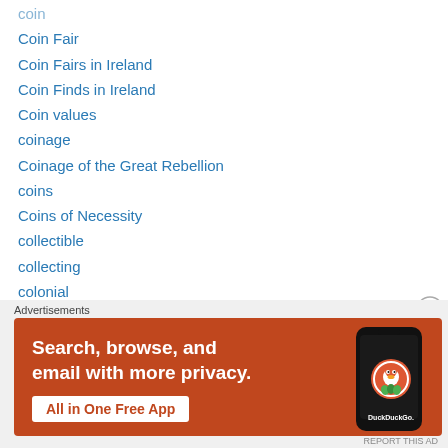coin
Coin Fair
Coin Fairs in Ireland
Coin Finds in Ireland
Coin values
coinage
Coinage of the Great Rebellion
coins
Coins of Necessity
collectible
collecting
colonial
commemorative
Commemorative Medal
Confederated Catholics
Advertisements
[Figure (infographic): DuckDuckGo advertisement banner with orange background. Text: 'Search, browse, and email with more privacy. All in One Free App'. Shows a smartphone with DuckDuckGo logo.]